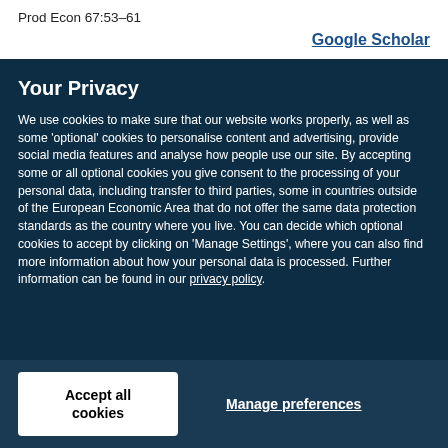Prod Econ 67:53–61
Google Scholar
Your Privacy
We use cookies to make sure that our website works properly, as well as some 'optional' cookies to personalise content and advertising, provide social media features and analyse how people use our site. By accepting some or all optional cookies you give consent to the processing of your personal data, including transfer to third parties, some in countries outside of the European Economic Area that do not offer the same data protection standards as the country where you live. You can decide which optional cookies to accept by clicking on 'Manage Settings', where you can also find more information about how your personal data is processed. Further information can be found in our privacy policy.
Accept all cookies
Manage preferences